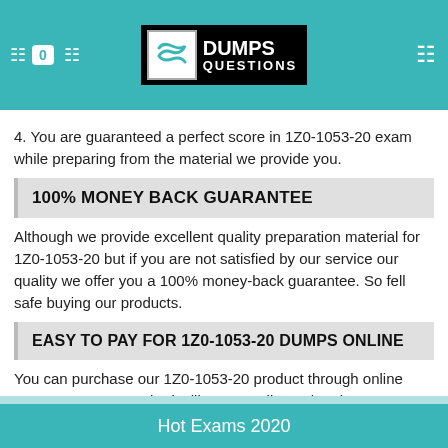0  DumpsQuestions
4. You are guaranteed a perfect score in 1Z0-1053-20 exam while preparing from the material we provide you.
100% MONEY BACK GUARANTEE
Although we provide excellent quality preparation material for 1Z0-1053-20 but if you are not satisfied by our service our quality we offer you a 100% money-back guarantee. So fell safe buying our products.
EASY TO PAY FOR 1Z0-1053-20 DUMPS ONLINE
You can purchase our 1Z0-1053-20 product through online secure payment methods, like as Credit Cards, Visa, Master Cards, American Express, and Discover.
Hot Exams 2020